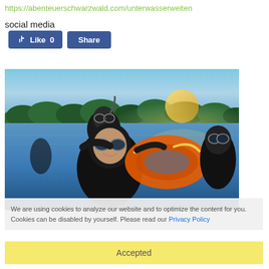https://abenteuerschwarzwald.com/unterwasserweiten
social media
[Figure (screenshot): Facebook Like (0) and Share buttons]
[Figure (photo): Three people in wetsuits and diving masks in a lake, holding an orange inflatable ring, with bright sunlight and trees in the background]
We are using cookies to analyze our website and to optimize the content for you. Cookies can be disabled by yourself. Please read our Privacy Policy
Accepted